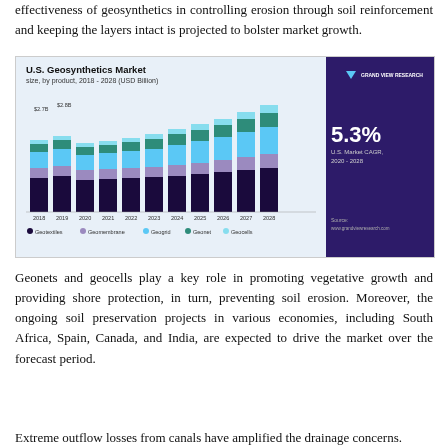effectiveness of geosynthetics in controlling erosion through soil reinforcement and keeping the layers intact is projected to bolster market growth.
[Figure (stacked-bar-chart): U.S. Geosynthetics Market size, by product, 2018 - 2028 (USD Billion)]
Geonets and geocells play a key role in promoting vegetative growth and providing shore protection, in turn, preventing soil erosion. Moreover, the ongoing soil preservation projects in various economies, including South Africa, Spain, Canada, and India, are expected to drive the market over the forecast period.
Extreme outflow losses from canals have amplified the drainage concerns.